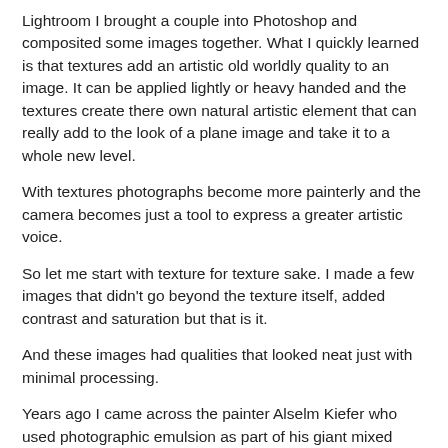Lightroom I brought a couple into Photoshop and composited some images together. What I quickly learned is that textures add an artistic old worldly quality to an image. It can be applied lightly or heavy handed and the textures create there own natural artistic element that can really add to the look of a plane image and take it to a whole new level.
With textures photographs become more painterly and the camera becomes just a tool to express a greater artistic voice.
So let me start with texture for texture sake. I made a few images that didn't go beyond the texture itself, added contrast and saturation but that is it.
And these images had qualities that looked neat just with minimal processing.
Years ago I came across the painter Alselm Kiefer who used photographic emulsion as part of his giant mixed media works and a few of these textures had a similar quality so I brought an image to overlay and the result was “The Road to Center Camp”. I was quite pleased by the result and wanted to continue experimenting and the